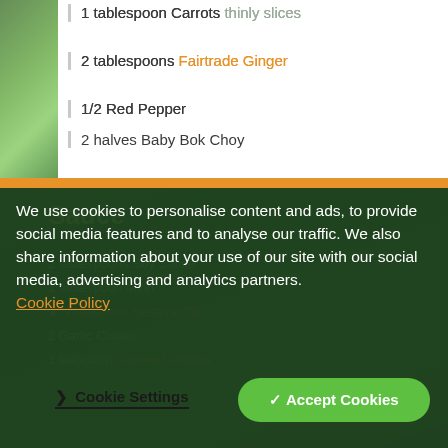1 tablespoon Carrots thinly slices
2 tablespoons Fairtrade Ginger
1/2 Red Pepper
2 halves Baby Bok Choy
2 Spring Onions
Noodles
Sauce
We use cookies to personalise content and ads, to provide social media features and to analyse our traffic. We also share information about your use of our site with our social media, advertising and analytics partners. Cookie Policy
Cookie Settings   Accept Cookies